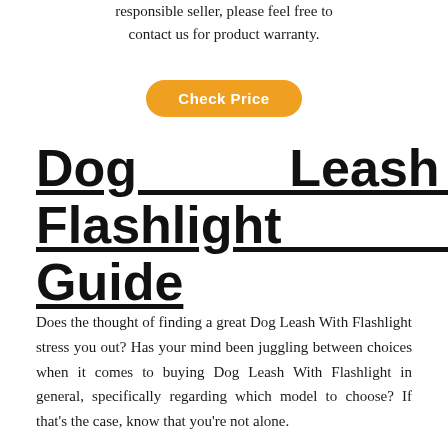responsible seller, please feel free to contact us for product warranty.
[Figure (other): Orange pill-shaped 'Check Price' button]
Dog Leash With Flashlight Buying Guide
Does the thought of finding a great Dog Leash With Flashlight stress you out? Has your mind been juggling between choices when it comes to buying Dog Leash With Flashlight in general, specifically regarding which model to choose? If that's the case, know that you're not alone.